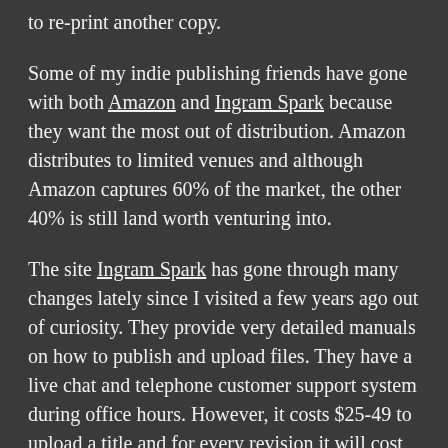to re-print another copy.
Some of my indie publishing friends have gone with both Amazon and Ingram Spark because they want the most out of distribution. Amazon distributes to limited venues and although Amazon captures 60% of the market, the other 40% is still land worth venturing into.
The site Ingram Spark has gone through many changes lately since I visited a few years ago out of curiosity. They provide very detailed manuals on how to publish and upload files. They have a live chat and telephone customer support system during office hours. However, it costs $25-49 to upload a title and for every revision it will cost $25. There used to be an annual fee of $12 per title, but I believe that has been dropped now. Regardless, I had high hopes for Ingram given they are a giant distributor and supposedly more